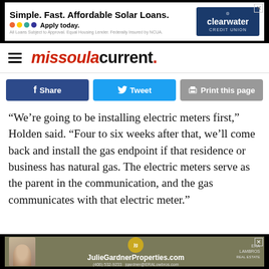[Figure (infographic): Top banner advertisement for Clearwater Credit Union solar loans: 'Simple. Fast. Affordable Solar Loans. Apply today.']
missoula current.
[Figure (infographic): Social share buttons: Facebook Share, Twitter Tweet, Print this page]
“We’re going to be installing electric meters first,” Holden said. “Four to six weeks after that, we’ll come back and install the gas endpoint if that residence or business has natural gas. The electric meters serve as the parent in the communication, and the gas communicates with that electric meter.”
[Figure (infographic): Bottom banner advertisement for JulieGardnerProperties.com ERA Lambros real estate]